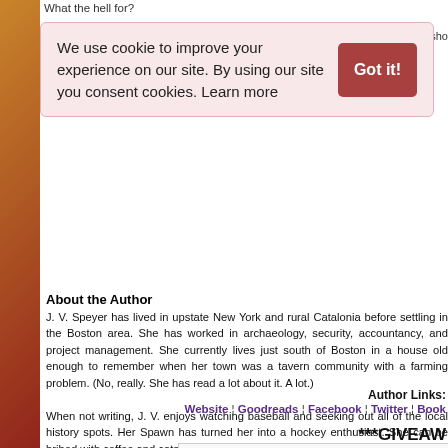What the hell for?
We use cookie to improve your experience on our site. By using our site you consent cookies. Learn more
About the Author
J. V. Speyer has lived in upstate New York and rural Catalonia before settling in the Boston area. She has worked in archaeology, security, accountancy, and project management. She currently lives just south of Boston in a house old enough to remember when her town was a tavern community with a farming problem. (No, really. She has read a lot about it. A lot.)
When not writing, J. V. enjoys watching baseball and seeking out all of the local history spots. Her Spawn has turned her into a hockey enthusiast. She can be bribed with coffee and cats.
Author Links:
Website ¦ Goodreads ¦ Facebook ¦ Twitter ¦ BookBub
***GIVEAW